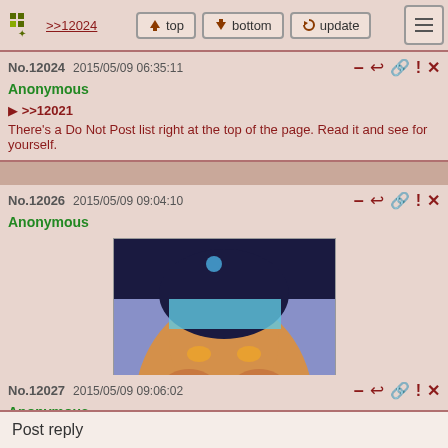>>12024  top  bottom  update
No.12024  2015/05/09 06:35:11
Anonymous
>>12021
There's a Do Not Post list right at the top of the page. Read it and see for yourself.
No.12026  2015/05/09 09:04:10
Anonymous
[Figure (illustration): Cartoon illustration of Princess Jasmine character with large bust in blue outfit]
Image: 143118745000.png
{373kB , 456x607 , 0c5879b6c79d7a59caf1ecdc53a4edd0.png}
No.12027  2015/05/09 09:06:02
Anonymous
[Figure (illustration): Partial view of same cartoon illustration]
Post reply